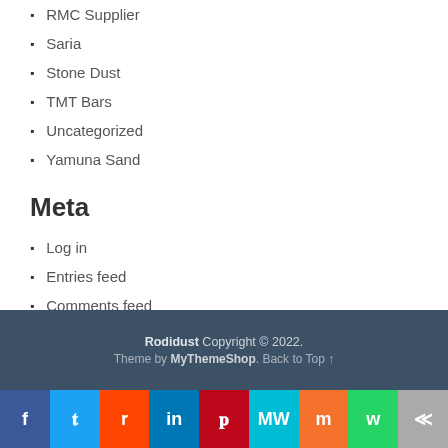RMC Supplier
Saria
Stone Dust
TMT Bars
Uncategorized
Yamuna Sand
Meta
Log in
Entries feed
Comments feed
WordPress.org
Rodidust Copyright © 2022. Theme by MyThemeShop. Back to Top ↑